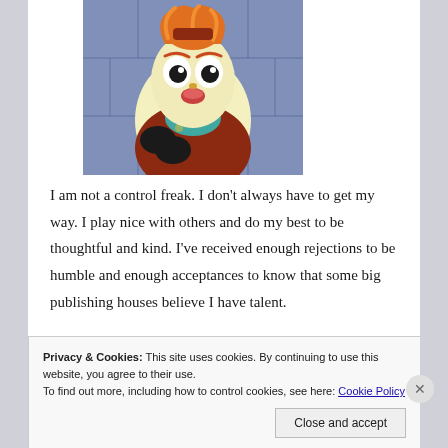[Figure (illustration): Cartoon character from SpongeBob SquarePants (Mrs. Puff) looking distressed, holding something, on a bluish-grey background. Character is cream/yellow colored with orange hair and wearing a brown/red outfit.]
I am not a control freak. I don't always have to get my way. I play nice with others and do my best to be thoughtful and kind. I've received enough rejections to be humble and enough acceptances to know that some big publishing houses believe I have talent.
Privacy & Cookies: This site uses cookies. By continuing to use this website, you agree to their use.
To find out more, including how to control cookies, see here: Cookie Policy
Close and accept